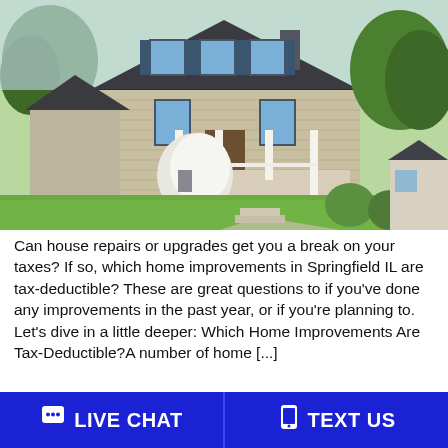[Figure (photo): Exterior photo of a two-story colonial-style house with gray/tan siding, dark shutters, a covered front porch with white railings, white flowering bushes, green lawn, and trees in the background on a sunny day.]
Can house repairs or upgrades get you a break on your taxes? If so, which home improvements in Springfield IL are tax-deductible? These are great questions to if you've done any improvements in the past year, or if you're planning to. Let's dive in a little deeper: Which Home Improvements Are Tax-Deductible?A number of home [...]
💬 LIVE CHAT   📱 TEXT US